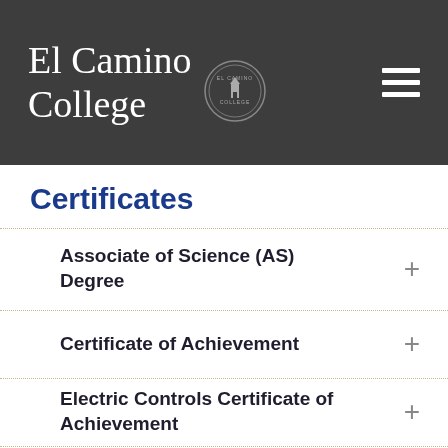[Figure (logo): El Camino College logo with circular seal on dark gray header bar with hamburger menu icon]
Certificates
Associate of Science (AS) Degree
Certificate of Achievement
Electric Controls Certificate of Achievement